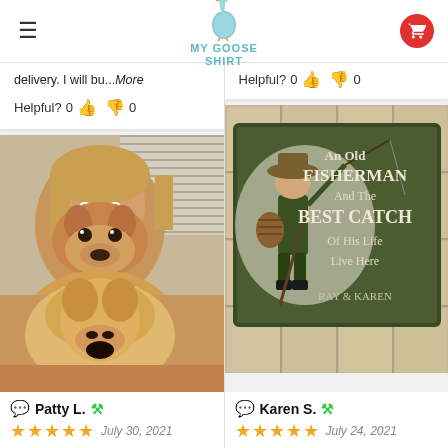My Goose Shirt (logo)
delivery. I will bu...More
Helpful? 0 👍 0 👎
Helpful? 0 👍 0 👎
[Figure (photo): Woman holding a small golden dog up to her face, wearing a dog-face mask]
Patty L. ✪ July 30, 2021 ★★★★★
[Figure (photo): Doormat reading: An Old FISHERMAN And The BEST CATCH Of His Life Live Here - RAY & KAREN]
Karen S. ✪ July 24, 2021 ★★★★★